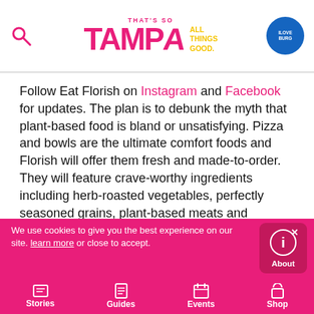That's So Tampa - All Things Good. [iLoveBurg badge]
Follow Eat Florish on Instagram and Facebook for updates. The plan is to debunk the myth that plant-based food is bland or unsatisfying. Pizza and bowls are the ultimate comfort foods and Florish will offer them fresh and made-to-order. They will feature crave-worthy ingredients including herb-roasted vegetables, perfectly seasoned grains, plant-based meats and housemade cheeses and sauces.
Dreamy desserts and hearty bowls will be on
We use cookies to give you the best experience on our site. learn more or close to accept. | Stories | Guides | Events | Shop | About